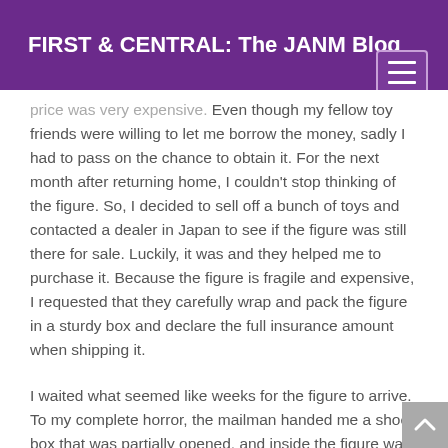FIRST & CENTRAL: The JANM Blog
price was very expensive. Even though my fellow toy friends were willing to let me borrow the money, sadly I had to pass on the chance to obtain it. For the next month after returning home, I couldn't stop thinking of the figure. So, I decided to sell off a bunch of toys and contacted a dealer in Japan to see if the figure was still there for sale. Luckily, it was and they helped me to purchase it. Because the figure is fragile and expensive, I requested that they carefully wrap and pack the figure in a sturdy box and declare the full insurance amount when shipping it.
I waited what seemed like weeks for the figure to arrive. To my complete horror, the mailman handed me a shoe box that was partially opened, and inside the figure was